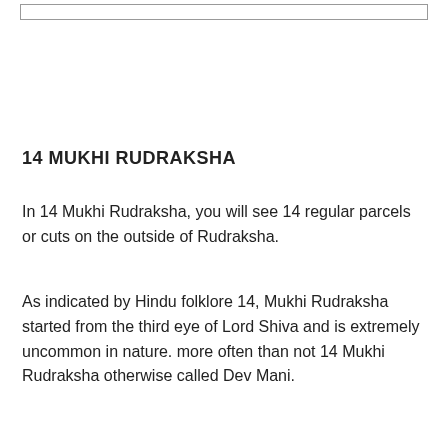[Figure (other): Top border rectangle outline]
14 MUKHI RUDRAKSHA
In 14 Mukhi Rudraksha, you will see 14 regular parcels or cuts on the outside of Rudraksha.
As indicated by Hindu folklore 14, Mukhi Rudraksha started from the third eye of Lord Shiva and is extremely uncommon in nature. more often than not 14 Mukhi Rudraksha otherwise called Dev Mani.